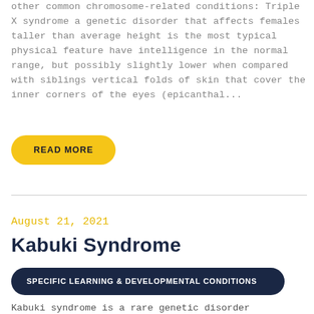other common chromosome-related conditions: Triple X syndrome a genetic disorder that affects females taller than average height is the most typical physical feature have intelligence in the normal range, but possibly slightly lower when compared with siblings vertical folds of skin that cover the inner corners of the eyes (epicanthal...
READ MORE
August 21, 2021
Kabuki Syndrome
SPECIFIC LEARNING & DEVELOPMENTAL CONDITIONS
Kabuki syndrome is a rare genetic disorder